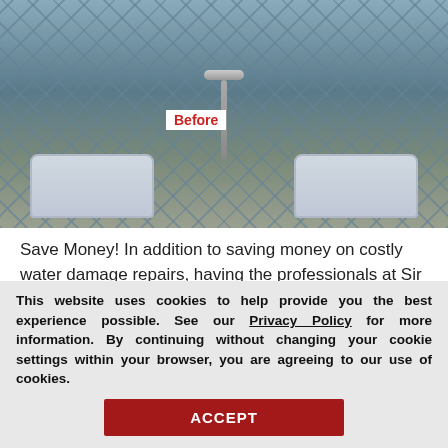[Figure (photo): A bathroom sink area showing faucets and stainless steel sinks with tile backsplash. A 'Before' label appears in red text on a white background in the upper left of the image.]
Save Money! In addition to saving money on costly water damage repairs, having the professionals at Sir Grout Atlanta recaulk your bathroom will save you time and the cost of materials.
Click on the links below fo[r...]
This website uses cookies to help provide you the best experience possible. See our Privacy Policy for more information. By continuing without changing your cookie settings within your browser, you are agreeing to our use of cookies.
ACCEPT